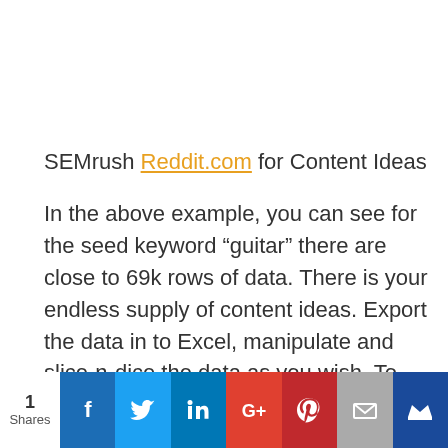SEMrush Reddit.com for Content Ideas
In the above example, you can see for the seed keyword “guitar” there are close to 69k rows of data. There is your endless supply of content ideas. Export the data in to Excel, manipulate and slice-n-dice the data as you wish. To make the data more meaningful and actionable, I like to take it a step further and gather more data.
[Figure (infographic): Social share bar showing 1 Share count on the left, followed by Facebook, Twitter, LinkedIn, Google+, Pinterest, Email, and Crown/bookmark social sharing buttons]